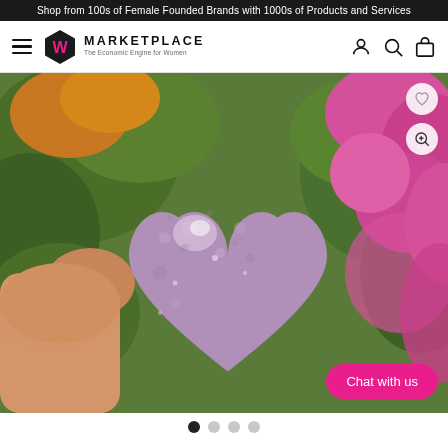Shop from 100s of Female Founded Brands with 1000s of Products and Services
[Figure (logo): W Marketplace logo — black hexagon with pink W, text MARKETPLACE, tagline The Economic Engine for Women]
[Figure (photo): Hand holding a polished purple/lavender lepidolite heart-shaped crystal stone against a background of green foliage and pink flowers. Wishlist heart icon top-right, zoom magnifier icon below it, pink Chat with us button bottom-right.]
[Figure (other): Image carousel dot indicators: 4 dots, first dot dark/active, remaining 3 light grey]